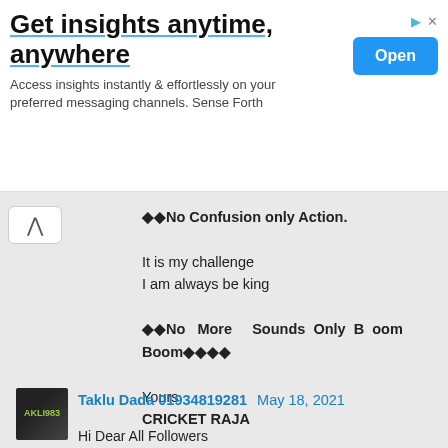[Figure (screenshot): Advertisement banner: 'Get insights anytime, anywhere' with Open button]
��No Confusion only Action.

It is my challenge
I am always be king

��No More Sounds Only B oom Boom����

Yours
CRICKET RAJA
Taklu Dada 01934819281  May 18, 2021
Hi Dear All Followers

💥....Taklu Dada OF IPL...💥💥.💥